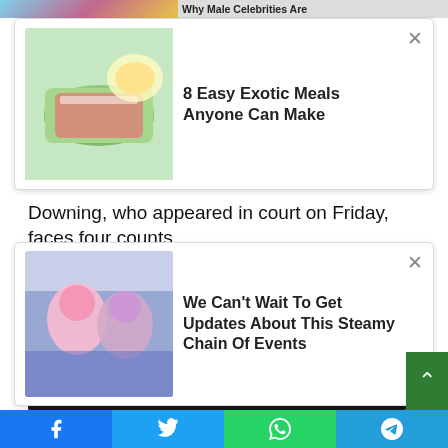[Figure (screenshot): Top banner strip with partial image and 'Why Male Celebrities Are Launching Nail Lines?' text]
[Figure (screenshot): Ad card with food image showing wrapped burrito/roll and text '8 Easy Exotic Meals Anyone Can Make' with X close button]
Downing, who appeared in court on Friday, faces four counts
[Figure (screenshot): Ad card with couple selfie photo and text 'We Can't Wait To Get Updates About This Steamy Chain Of Events' with X close button]
of assault and other charges for allegedly attacking the woman multiple times again.
Prosecutors said a woman told investigators the suspect sexually assaulted her three times during the attack and once even made small talk and asked her about her pets, KREM reported.
The woman still lives in fear 18 years later, prosecutors said.
[Figure (photo): Dark interior room photo, partially visible at bottom of page]
[Figure (screenshot): Social sharing bar with Facebook, Twitter, WhatsApp, and Telegram buttons at bottom]